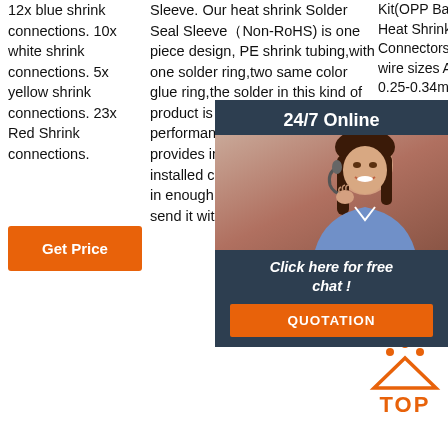12x blue shrink connections. 10x white shrink connections. 5x yellow shrink connections. 23x Red Shrink connections.
[Figure (other): Orange 'Get Price' button]
Sleeve. Our heat shrink Solder Seal Sleeve（Non-RoHS) is one piece design, PE shrink tubing,with one solder ring,two same color glue ring,the solder in this kind of product is soft and better product performance.solder Seal Sleeve provides insulation and lower the installed cost.We keep this product in enough store,we can arrange send it within 1 week.
Kit(OPP Bags) White Heat Shrink Connectors: Suits cable wire sizes AWG 26-24 0.25-0.34mm Heat S Conne cable w 18-22A 1.0mm
[Figure (other): 24/7 Online chat widget with customer service photo, 'Click here for free chat!' text, and orange QUOTATION button]
[Figure (other): Orange TOP icon with arrow pointing up and dots above]
[Figure (other): Orange Get button (partially visible)]